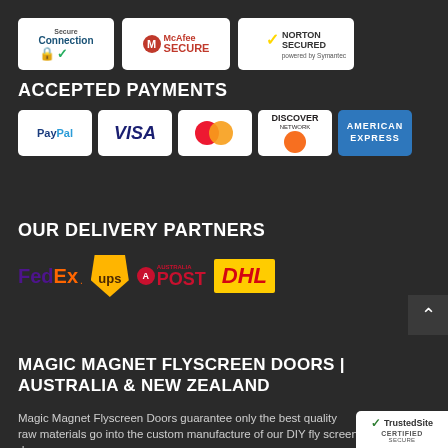[Figure (logo): Security badges: SSL Secure Connection, McAfee Secure, Norton Secured powered by Symantec]
ACCEPTED PAYMENTS
[Figure (logo): Payment method logos: PayPal, Visa, MasterCard, Discover Network, American Express]
OUR DELIVERY PARTNERS
[Figure (logo): Delivery partner logos: FedEx, UPS, Australia Post, DHL]
MAGIC MAGNET FLYSCREEN DOORS | AUSTRALIA & NEW ZEALAND
Magic Magnet Flyscreen Doors guarantee only the best quality raw materials go into the custom manufacture of our DIY fly screen doors.
[Figure (logo): TrustedSite Certified Secure badge]